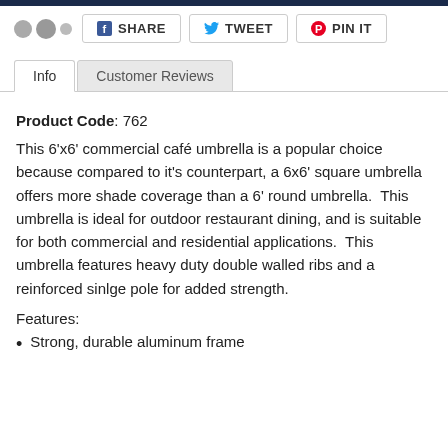[Figure (other): Social share buttons row with Facebook Share, Tweet, and Pin It buttons, plus decorative dots]
[Figure (other): Tab navigation with Info tab (active) and Customer Reviews tab]
Product Code: 762
This 6'x6' commercial café umbrella is a popular choice because compared to it's counterpart, a 6x6' square umbrella offers more shade coverage than a 6' round umbrella.  This umbrella is ideal for outdoor restaurant dining, and is suitable for both commercial and residential applications.  This umbrella features heavy duty double walled ribs and a reinforced sinlge pole for added strength.
Features:
Strong, durable aluminum frame